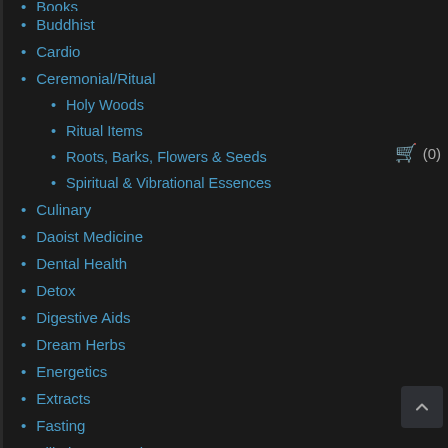Books
Buddhist
Cardio
Ceremonial/Ritual
Holy Woods
Ritual Items
Roots, Barks, Flowers & Seeds
Spiritual & Vibrational Essences
Culinary
Daoist Medicine
Dental Health
Detox
Digestive Aids
Dream Herbs
Energetics
Extracts
Fasting
Filiation Spagyrics
For Babies and Children
Forest Sisters
Gemmotherapy/Oligotherapy
Hair Care